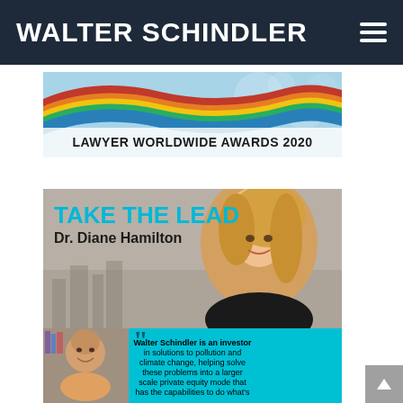WALTER SCHINDLER
[Figure (illustration): Lawyer Worldwide Awards 2020 banner with colorful curved wave design in red, orange, yellow, green, and blue on a light blue background with bokeh circles]
LAWYER WORLDWIDE AWARDS 2020
[Figure (photo): Take the Lead promotional image featuring Dr. Diane Hamilton, a blonde woman in a black outfit, smiling against a city skyline background]
TAKE THE LEAD
Dr. Diane Hamilton
[Figure (photo): Photo of Walter Schindler, a middle-aged man smiling, with bookshelves in the background]
Walter Schindler is an investor in solutions to pollution and climate change, helping solve these problems into a larger scale private equity mode that has the capabilities to do what's